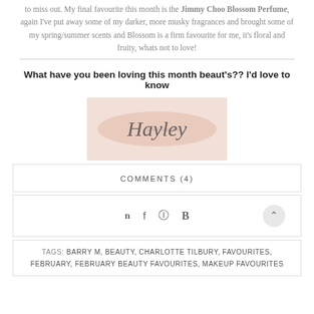to miss out. My final favourite this month is the Jimmy Choo Blossom Perfume, again I've put away some of my darker, more musky fragrances and brought some of my spring/summer scents and Blossom is a firm favourite for me, it's floral and fruity, whats not to love!
What have you been loving this month beaut's?? I'd love to know
[Figure (illustration): Signature image of 'Hayley' in cursive script on a pink/rose background with photobucket watermark]
COMMENTS (4)
[Figure (other): Social share icons: Twitter, Facebook, Pinterest, Bloglovin, and an up-arrow button]
TAGS: BARRY M, BEAUTY, CHARLOTTE TILBURY, FAVOURITES, FEBRUARY, FEBRUARY BEAUTY FAVOURITES, MAKEUP FAVOURITES